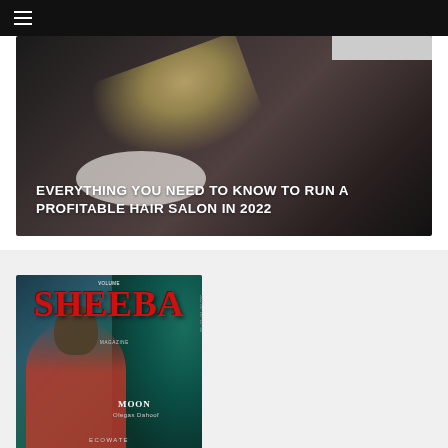☰ (hamburger menu)
[Figure (photo): Hero image of hair salon scene showing a hairstylist washing or cutting hair of a client leaning back at a salon sink. Dark moody background. Gray box in upper right corner.]
EVERYTHING YOU NEED TO KNOW TO RUN A PROFITABLE HAIR SALON IN 2022
[Figure (photo): Magazine cover of SHEEBA Magazine showing a woman in a red jacket against a teal/peacock feather background. Text reads 'VOLUME' at top, 'SHEEBA' in large red letters, 'MAGAZINE' label, 'MOON' and 'Olegas Dahoof' at bottom right, and 'ECOWATE' partially visible at bottom.]